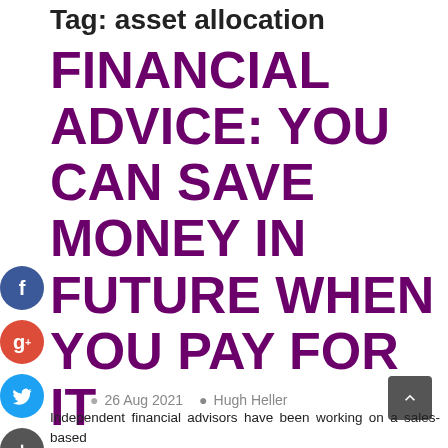Tag: asset allocation
FINANCIAL ADVICE: YOU CAN SAVE MONEY IN FUTURE WHEN YOU PAY FOR IT
© 26 Aug 2021   Hugh Heller
Independent financial advisors have been working on a sales-based